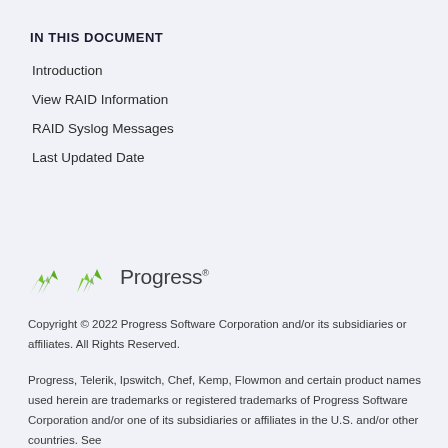IN THIS DOCUMENT
Introduction
View RAID Information
RAID Syslog Messages
Last Updated Date
[Figure (logo): Progress software logo with green arrow icon and 'Progress' wordmark]
Copyright © 2022 Progress Software Corporation and/or its subsidiaries or affiliates. All Rights Reserved.
Progress, Telerik, Ipswitch, Chef, Kemp, Flowmon and certain product names used herein are trademarks or registered trademarks of Progress Software Corporation and/or one of its subsidiaries or affiliates in the U.S. and/or other countries. See